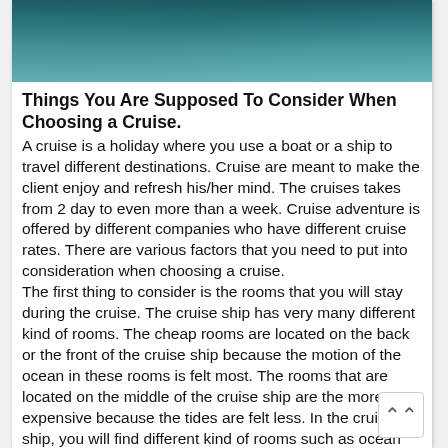[Figure (photo): Aerial or close-up photo of dark teal ocean/sea water]
Things You Are Supposed To Consider When Choosing a Cruise.
A cruise is a holiday where you use a boat or a ship to travel different destinations. Cruise are meant to make the client enjoy and refresh his/her mind. The cruises takes from 2 day to even more than a week. Cruise adventure is offered by different companies who have different cruise rates. There are various factors that you need to put into consideration when choosing a cruise.
The first thing to consider is the rooms that you will stay during the cruise. The cruise ship has very many different kind of rooms. The cheap rooms are located on the back or the front of the cruise ship because the motion of the ocean in these rooms is felt most. The rooms that are located on the middle of the cruise ship are the more expensive because the tides are felt less. In the cruise ship, you will find different kind of rooms such as ocean view, suite, balcony and interior cabin.
Another thing to put into consideration is the cruise lin... The list of companies that offers cruise services is long.